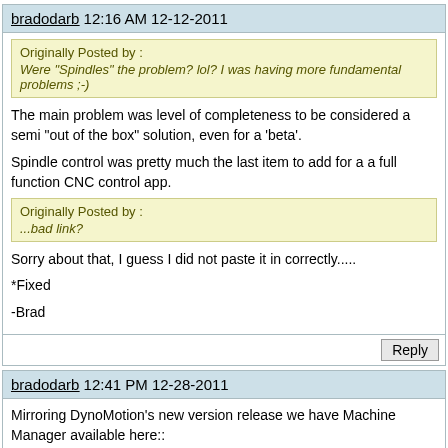bradodarb 12:16 AM 12-12-2011
Originally Posted by :
Were "Spindles" the problem? lol? I was having more fundamental problems ;-)
The main problem was level of completeness to be considered a semi "out of the box" solution, even for a 'beta'.
Spindle control was pretty much the last item to add for a a full function CNC control app.
Originally Posted by :
...bad link?
Sorry about that, I guess I did not paste it in correctly.....
*Fixed
-Brad
bradodarb 12:41 PM 12-28-2011
Mirroring DynoMotion's new version release we have Machine Manager available here::
Download Machine Manager from SourceForge.net